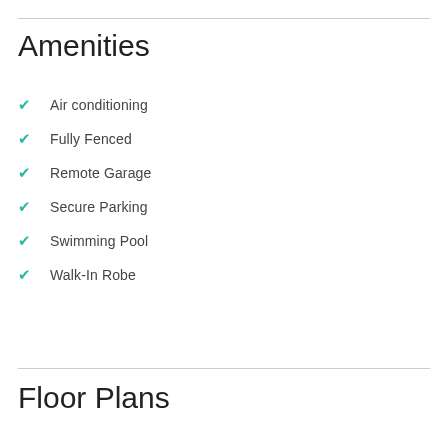Amenities
Air conditioning
Fully Fenced
Remote Garage
Secure Parking
Swimming Pool
Walk-In Robe
Floor Plans